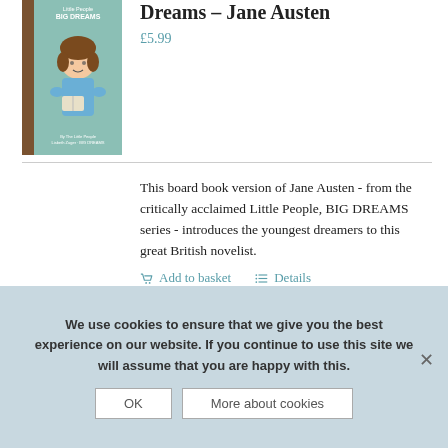[Figure (illustration): Book cover illustration of a Little People, BIG DREAMS Jane Austen board book, showing a cartoon girl with brown hair in a blue dress]
Dreams – Jane Austen
£5.99
This board book version of Jane Austen - from the critically acclaimed Little People, BIG DREAMS series - introduces the youngest dreamers to this great British novelist.
Add to basket   Details
We use cookies to ensure that we give you the best experience on our website. If you continue to use this site we will assume that you are happy with this.